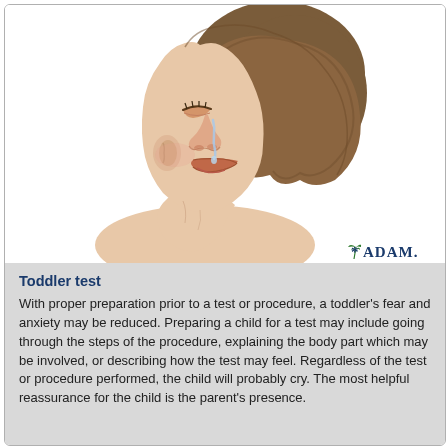[Figure (illustration): Medical illustration of a toddler shown in profile (side view), crying with a tear on cheek, bare shoulders, short brown hair. The child's face is turned slightly downward with eyes closed. A*DAM logo appears in lower right corner of the illustration area.]
Toddler test
With proper preparation prior to a test or procedure, a toddler's fear and anxiety may be reduced. Preparing a child for a test may include going through the steps of the procedure, explaining the body part which may be involved, or describing how the test may feel. Regardless of the test or procedure performed, the child will probably cry. The most helpful reassurance for the child is the parent's presence.